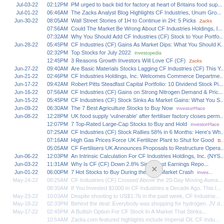Jul-03-22 02:12PM PM urged to back bid for factory at heart of Britains food sup...
Jul-01-22 06:46AM The Zacks Analyst Blog Highlights CF Industries, Unum Gro...
Jun-30-22 08:05AM Wall Street Stories of 1H to Continue in 2H: 5 Picks [Zacks]
07:56AM Could The Market Be Wrong About CF Industries Holdings, I...
07:32AM Why You Should Add CF Industries (CF) Stock to Your Portfo...
Jun-28-22 05:45PM CF Industries (CF) Gains As Market Dips: What You Should K...
02:32PM Top Stocks for July 2022 [Investopedia]
12:45PM 3 Reasons Growth Investors Will Love CF (CF) [Zacks]
Jun-27-22 09:40AM Are Basic Materials Stocks Lagging CF Industries (CF) This Y...
Jun-21-22 02:46PM CF Industries Holdings, Inc. Welcomes Commerce Departme...
Jun-17-22 09:42AM Robert Pitts Steadfast Capital Portfolio: 10 Dividend Stock Pi...
Jun-16-22 07:56AM CF Industries (CF) Gains on Strong Nitrogen Demand & Pric...
Jun-15-22 05:45PM CF Industries (CF) Stock Sinks As Market Gains: What You S...
Jun-09-22 06:30AM The 7 Best Agriculture Stocks to Buy Now [InvestorPlace]
Jun-08-22 12:28PM UK food supply 'vulnerable' after fertiliser factory closes perm...
12:07PM 7 Top-Rated Large-Cap Stocks to Buy and Hold [InvestorPlace]
07:25AM CF Industries (CF) Stock Rallies 58% in 6 Months: Here's Wh...
07:16AM High Gas Prices Force UK Fertilizer Plant to Shut for Good [B...]
05:05AM CF Fertilisers UK Announces Proposals to Restructure Opera...
Jun-06-22 12:03PM An Intrinsic Calculation For CF Industries Holdings, Inc. (NYS...
Jun-03-22 11:31AM Why Is CF (CF) Down 2.8% Since Last Earnings Repo...
Jun-01-22 06:00PM 7 Hot Stocks to Buy During the Next Market Crash [InvestorPlace]
May-24-22 08:25AM CF Industries (CF) Crossed Above the 20-Day Moving Avera...
08:30AM If You Invested $1000 in CF Industries a Decade Ago, This I...
May-23-22 10:03AM Despite shooting to US$1.7b in the past week, CF Industrie...
May-18-22 02:33PM Behind the deal: Everybody was shopping for hydrogen. JV d...
May-17-22 02:45PM A Bullish Option For CF Stock In A Market That Stinks...
10:54AM Zacks.com featured highlights include Imperial Oil, CF Indu...